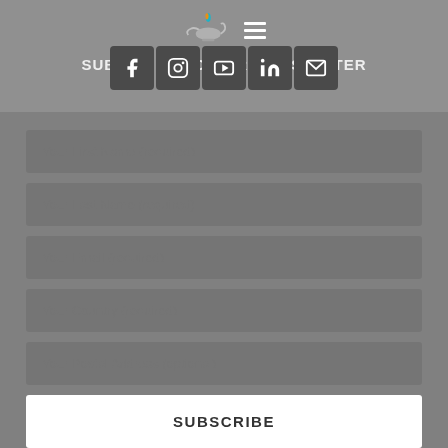[Figure (logo): Aladdin lamp logo with flame icon and hamburger menu icon]
SUBSCRIBE TO OUR NEWSLETTER
[Figure (infographic): Row of 5 social media icon buttons: Facebook, Instagram, YouTube, LinkedIn, Email]
Your First Name (required)
Your Last Name (required)
Your Email (required)
Your Country (required)
Your Postal Address (optional)
SUBSCRIBE